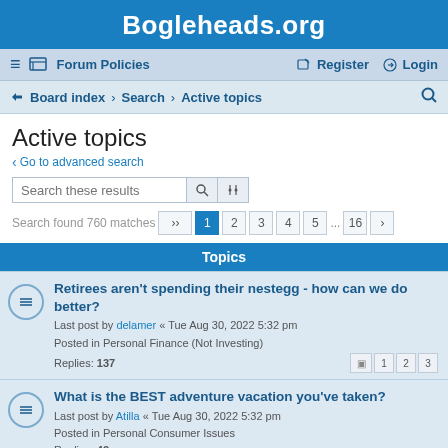Bogleheads.org
≡  Forum Policies    Register  Login
Board index · Search · Active topics
Active topics
< Go to advanced search
Search these results
Search found 760 matches  1 2 3 4 5 ... 16 >
Topics
Retirees aren't spending their nestegg - how can we do better?
Last post by delamer « Tue Aug 30, 2022 5:32 pm
Posted in Personal Finance (Not Investing)
Replies: 137
What is the BEST adventure vacation you've taken?
Last post by Atilla « Tue Aug 30, 2022 5:32 pm
Posted in Personal Consumer Issues
Replies: 42
Why so much International in Vanguard Target Retirement funds?